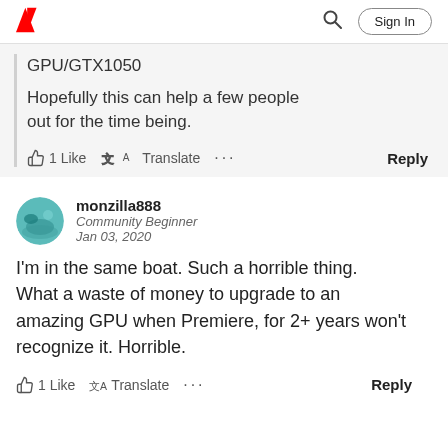Adobe | Sign In
GPU/GTX1050
Hopefully this can help a few people out for the time being.
1 Like  Translate  ...  Reply
monzilla888
Community Beginner
Jan 03, 2020
I'm in the same boat. Such a horrible thing. What a waste of money to upgrade to an amazing GPU when Premiere, for 2+ years won't recognize it. Horrible.
1 Like  Translate  ...  Reply